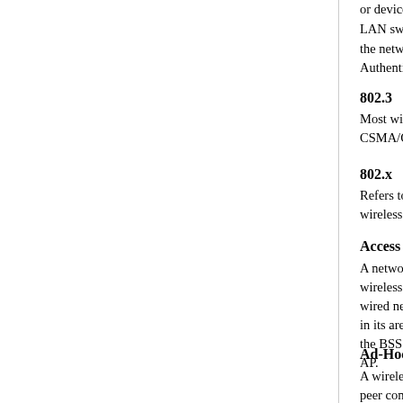or device, LAN sw, the netw, Authenti
802.3
Most wi, CSMA/C
802.x
Refers to wireless
Access P
A netwo wireless wired ne in its are the BSS AP.
Ad-Hoc
A wirele peer con Ad-Hoc